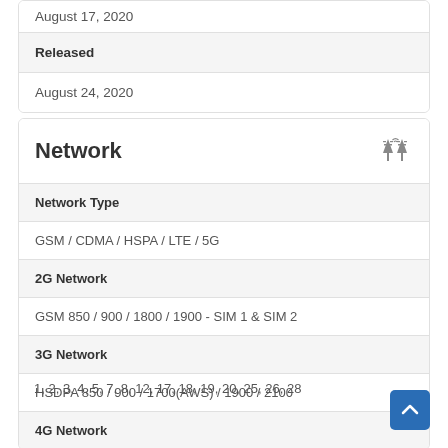August 17, 2020
| Released |
| --- |
| August 24, 2020 |
| Network Type | 2G Network | 3G Network | 4G Network |
| --- | --- | --- | --- |
| GSM / CDMA / HSPA / LTE / 5G |
| GSM 850 / 900 / 1800 / 1900 - SIM 1 & SIM 2 |
| HSDPA 850 / 900 / 1700(AWS) / 1900 / 2100 |
| 1, 2, 3, 4, 5, 7, 8, 12, 17, 18, 19, 20, 25, 26, 28 |